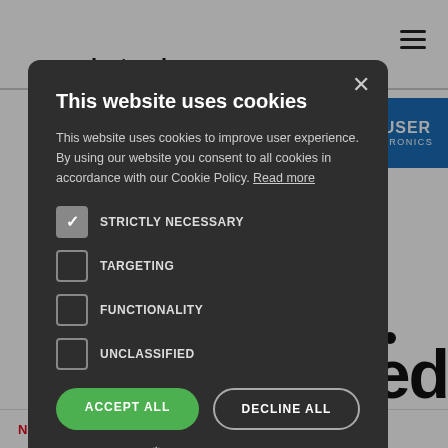newelectronics
This website uses cookies
This website uses cookies to improve user experience. By using our website you consent to all cookies in accordance with our Cookie Policy. Read more
STRICTLY NECESSARY
TARGETING
FUNCTIONALITY
UNCLASSIFIED
ACCEPT ALL
DECLINE ALL
SHOW DETAILS
News  1 min read